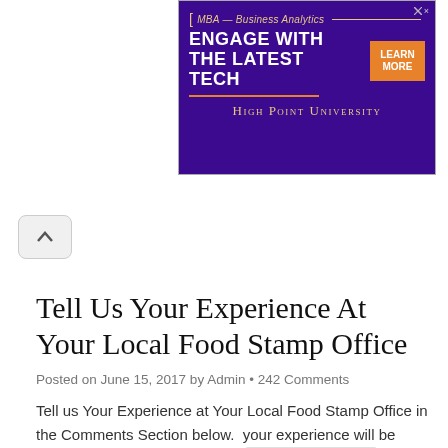[Figure (screenshot): Advertisement banner for High Point University MBA – Business Analytics program. Purple background with orange accent button reading 'LEARN MORE' and white bold text 'ENGAGE WITH THE LATEST TECH'. Gold italic text 'MBA — Business Analytics' at top. University name in gold small-caps at bottom.]
Tell Us Your Experience At Your Local Food Stamp Office
Posted on June 15, 2017 by Admin • 242 Comments
Tell us Your Experience at Your Local Food Stamp Office in the Comments Section below.  your experience will be shared on foodstampoffice.us  Continue Reading
Share this: